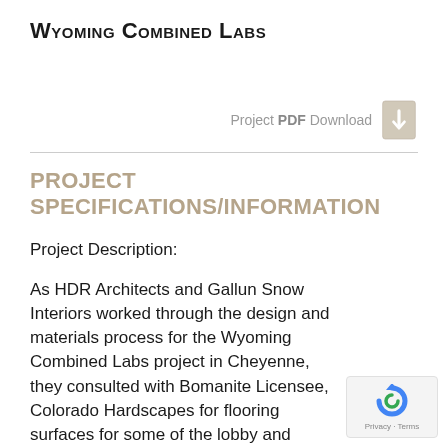Wyoming Combined Labs
[Figure (other): PDF download icon — Adobe Acrobat-style red/tan document icon with a downward arrow]
PROJECT SPECIFICATIONS/INFORMATION
Project Description:
As HDR Architects and Gallun Snow Interiors worked through the design and materials process for the Wyoming Combined Labs project in Cheyenne, they consulted with Bomanite Licensee, Colorado Hardscapes for flooring surfaces for some of the lobby and corridor space.